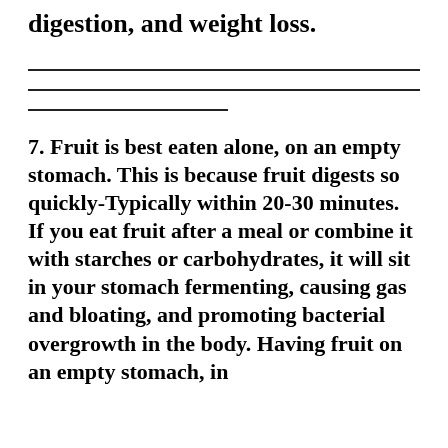digestion, and weight loss.
7. Fruit is best eaten alone, on an empty stomach. This is because fruit digests so quickly-Typically within 20-30 minutes. If you eat fruit after a meal or combine it with starches or carbohydrates, it will sit in your stomach fermenting, causing gas and bloating, and promoting bacterial overgrowth in the body. Having fruit on an empty stomach, in